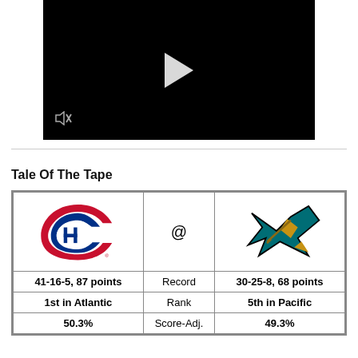[Figure (screenshot): Black video player with white play button and mute icon in the bottom-left corner]
Tale Of The Tape
| Team (Montreal Canadiens) | Stat | Team (San Jose Sharks) |
| --- | --- | --- |
| [MTL Logo] | @ | [SJS Logo] |
| 41-16-5, 87 points | Record | 30-25-8, 68 points |
| 1st in Atlantic | Rank | 5th in Pacific |
| 50.3% | Score-Adj. | 49.3% |